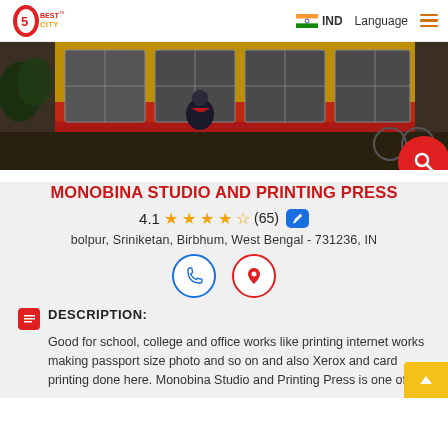5 Best City | IND | Language
[Figure (photo): Exterior photo of Monobina Studio and Printing Press shop with yellow and red walls, glass windows/doors, a person standing at entrance]
MONOBINA STUDIO AND PRINTING PRESS
4.1 ★★★★☆ (65)
bolpur, Sriniketan, Birbhum, West Bengal - 731236, IN
Phone and Location icons
DESCRIPTION:
Good for school, college and office works like printing internet works making passport size photo and so on and also Xerox and card printing done here. Monobina Studio and Printing Press is one of the